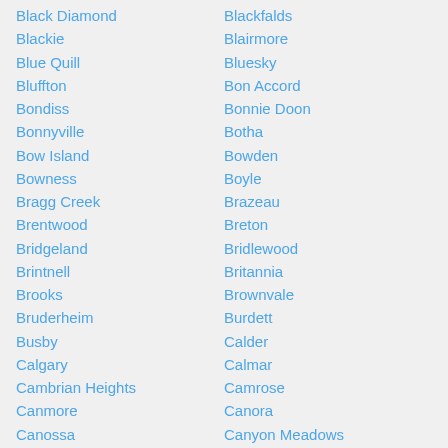Black Diamond
Blackie
Blue Quill
Bluffton
Bondiss
Bonnyville
Bow Island
Bowness
Bragg Creek
Brentwood
Bridgeland
Brintnell
Brooks
Bruderheim
Busby
Calgary
Cambrian Heights
Canmore
Canossa
Capilano
Cardston
Carseland
Blackfalds
Blairmore
Bluesky
Bon Accord
Bonnie Doon
Botha
Bowden
Boyle
Brazeau
Breton
Bridlewood
Britannia
Brownvale
Burdett
Calder
Calmar
Camrose
Canora
Canyon Meadows
Carbon
Caroline
Carstairs